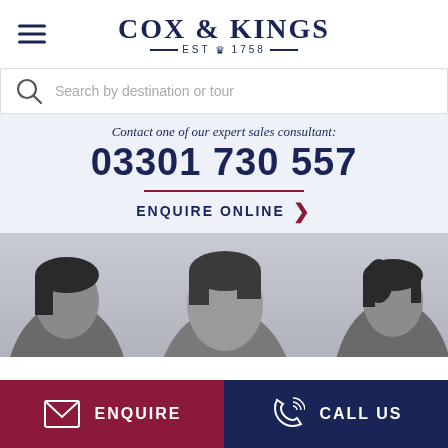[Figure (logo): Cox & Kings logo with hamburger menu icon. Logo reads COX & KINGS — EST crown 1758 —]
Search by destination or tour
Contact one of our expert sales consultant:
03301 730 557
ENQUIRE ONLINE
[Figure (photo): Three people shown in grayscale, cropped to show faces/upper heads only.]
ENQUIRE
CALL US